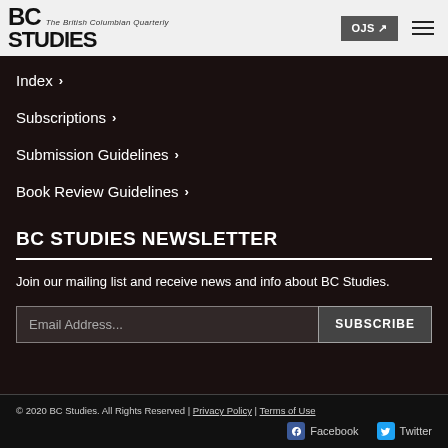BC Studies – The British Columbian Quarterly | OJS ↗ | Menu
Index ›
Subscriptions ›
Submission Guidelines ›
Book Review Guidelines ›
BC STUDIES NEWSLETTER
Join our mailing list and receive news and info about BC Studies.
Email Address...  SUBSCRIBE
© 2020 BC Studies. All Rights Reserved | Privacy Policy | Terms of Use  Facebook  Twitter